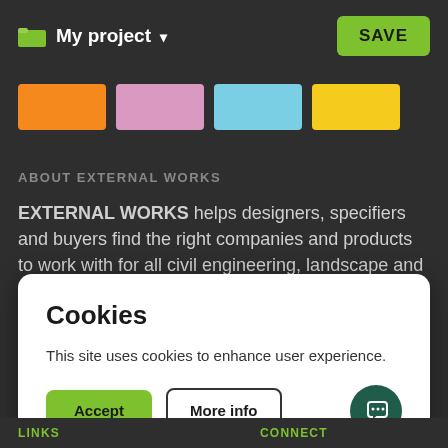My project ▾   SAVE
[Figure (other): Four color swatches in a row: orange, pink/mauve, light blue, yellow]
ABOUT EXTERNAL WORKS
EXTERNAL WORKS helps designers, specifiers and buyers find the right companies and products to work with for all civil engineering, landscape and architectural hardscape
Cookies

This site uses cookies to enhance user experience.

Accept   More info
LINKS   CONNECT